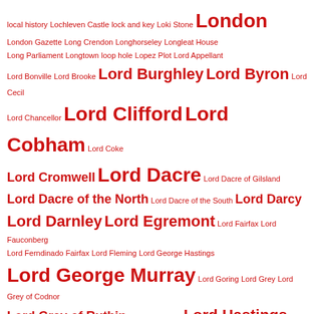local history Lochleven Castle lock and key Loki Stone London London Gazette Long Crendon Longhorseley Longleat House Long Parliament Longtown loop hole Lopez Plot Lord Appellant Lord Bonville Lord Brooke Lord Burghley Lord Byron Lord Cecil Lord Chancellor Lord Clifford Lord Cobham Lord Coke Lord Cromwell Lord Dacre Lord Dacre of Gilsland Lord Dacre of the North Lord Dacre of the South Lord Darcy Lord Darnley Lord Egremont Lord Fairfax Lord Fauconberg Lord Ferndinado Fairfax Lord Fleming Lord George Hastings Lord George Murray Lord Goring Lord Grey Lord Grey of Codnor Lord Grey of Ruthin Lord Greystoke Lord Hastings Lord Herries Lord Hothfield Lord Howard Lord Howard of Effingham Lord Hunsdon Lord Huntly Lord Hussey Lord John Byron Lord John Neville Lord Latimer Lord Lee Lord Lisle Lord Lonsdale Lord Lovell Lord Lucan Lord Maxwell Lord Methven Lord Montagu Lord Mordington Lord Morley Lord Mountjoy Lord of Egremont Lord of Longueville Lord of Tancerville Lord of Westmorland Lord Palmerston Lord Poynings Lord Protector Lord Rivers